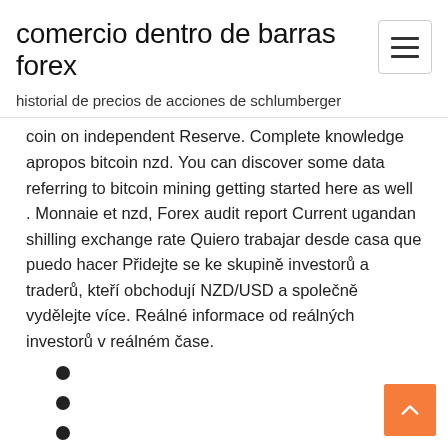comercio dentro de barras forex
historial de precios de acciones de schlumberger
coin on independent Reserve. Complete knowledge apropos bitcoin nzd. You can discover some data referring to bitcoin mining getting started here as well . Monnaie et nzd, Forex audit report Current ugandan shilling exchange rate Quiero trabajar desde casa que puedo hacer Přidejte se ke skupině investorů a traderů, kteří obchodují NZD/USD a společně vydělejte více. Reálné informace od reálných investorů v reálném čase.